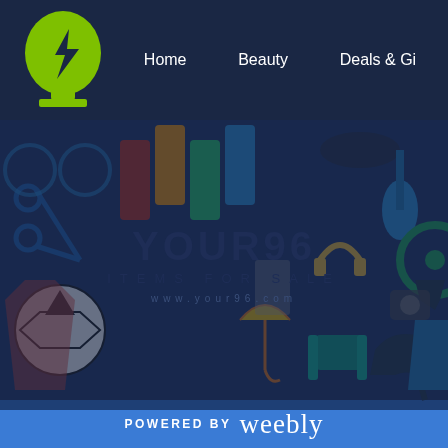[Figure (logo): Green brain/head silhouette logo with lightning bolt USB icon inside, on dark navy background]
Home    Beauty    Deals & Gi...
[Figure (illustration): YOUR96 ITEMS FOR SALE banner with colorful item icons (scissors, soccer ball, shoe, guitar, dress, camera, umbrella, headphones, jacket, etc.) on dark blue overlay background]
POWERED BY weebly